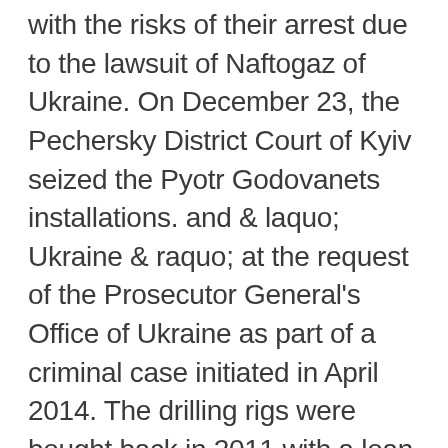with the risks of their arrest due to the lawsuit of Naftogaz of Ukraine. On December 23, the Pechersky District Court of Kyiv seized the Pyotr Godovanets installations. and & laquo; Ukraine & raquo; at the request of the Prosecutor General's Office of Ukraine as part of a criminal case initiated in April 2014. The drilling rigs were bought back in 2011 with a loan that Naftogaz singled out Chernomorneftegaz, which at that time was its subsidiary. The companies began to sue over the return of funds even before the annexation of Crimea to Russia.